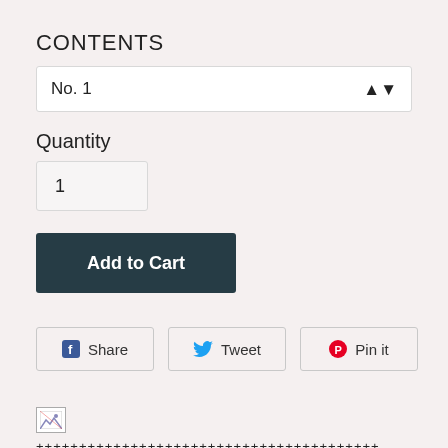CONTENTS
No. 1
Quantity
1
Add to Cart
Share
Tweet
Pin it
[Figure (other): Broken image icon (small, top-left corner)]
++++++++++++++++++++++++++++++++++++++++